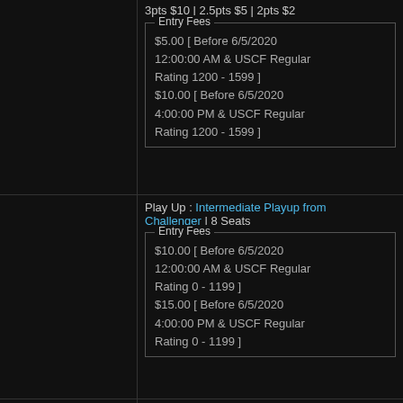3pts $10 | 2.5pts $5 | 2pts $2
Entry Fees
$5.00 [ Before 6/5/2020 12:00:00 AM & USCF Regular Rating 1200 - 1599 ]
$10.00 [ Before 6/5/2020 4:00:00 PM & USCF Regular Rating 1200 - 1599 ]
Play Up : Intermediate Playup from Challenger | 8 Seats
Entry Fees
$10.00 [ Before 6/5/2020 12:00:00 AM & USCF Regular Rating 0 - 1199 ]
$15.00 [ Before 6/5/2020 4:00:00 PM & USCF Regular Rating 0 - 1199 ]
4. Challenger (USCF U1200)
3 Rounds | 0 Byes | Rapid Time Control | chess.com Rated | Swiss Pairing
https://www.chess.com/club/pnwcc-